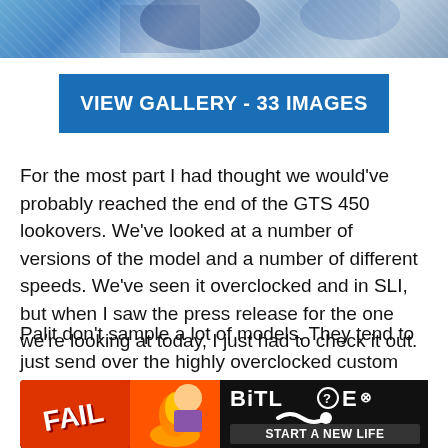[Figure (photo): Partial photo strip at top of page showing colorful action/gaming imagery]
VIEW GALLERY - 33 IMAGES
For the most part I had thought we would've probably reached the end of the GTS 450 lookovers. We've looked at a number of versions of the model and a number of different speeds. We've seen it overclocked and in SLI, but when I saw the press release for the one we're looking at today, I just had to check it out.
Palit don't sample a lot of models. They tend to just send over the highly overclocked custom models like the Platinum Sonic we've already looked at. And while the one clocks, ace
[Figure (photo): BitLife advertisement banner with FAIL text, flame graphics, animated character, and START A NEW LIFE text]